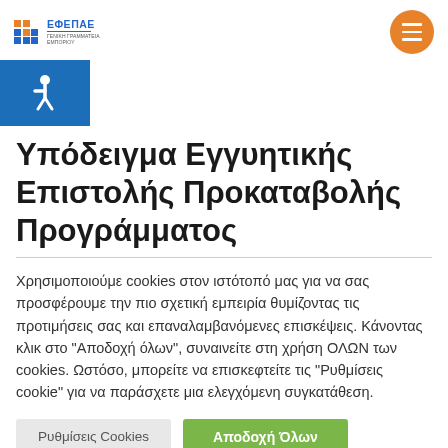[Figure (logo): ΕΦΕΠΑΕ logo with colored grid squares and text]
[Figure (illustration): Orange circular hamburger menu button]
[Figure (illustration): Blue accessibility icon bar with wheelchair symbol]
Υπόδειγμα Εγγυητικής Επιστολής Προκαταβολής Προγράμματος
Χρησιμοποιούμε cookies στον ιστότοπό μας για να σας προσφέρουμε την πιο σχετική εμπειρία θυμίζοντας τις προτιμήσεις σας και επαναλαμβανόμενες επισκέψεις. Κάνοντας κλικ στο "Αποδοχή όλων", συναινείτε στη χρήση ΟΛΩΝ των cookies. Ωστόσο, μπορείτε να επισκεφτείτε τις "Ρυθμίσεις cookie" για να παράσχετε μια ελεγχόμενη συγκατάθεση.
Ρυθμίσεις Cookies | Αποδοχή Όλων